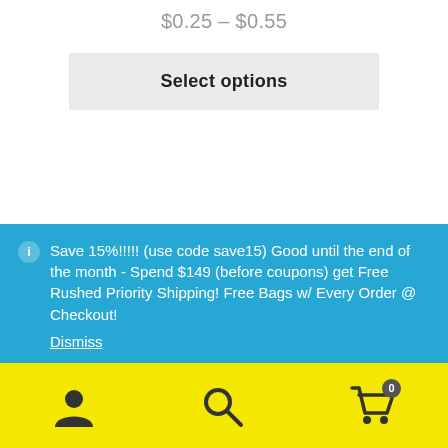$0.25 – $0.55
Select options
[Figure (photo): Two product images side by side: left shows a colorful packaging with 'Jokes Up!' and 'Fetti Trap' branding on dark background; right shows plain black packaging]
Save 15%!!!!! (use code save15) Good until the end of the month - Spend $149 (before coupons) get Free Rushed Priority Shipping! Free Bags w/ Every Order @ Checkout!
Dismiss
Account | Search | Cart (0)